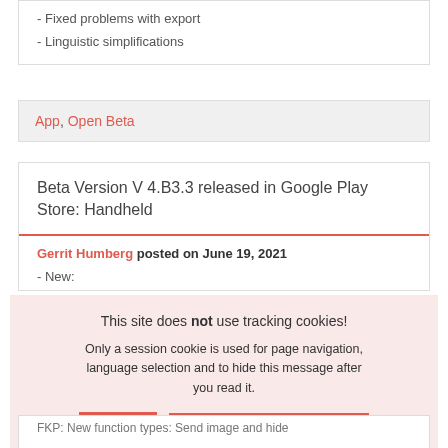- Fixed problems with export
- Linguistic simplifications
App, Open Beta
Beta Version V 4.B3.3 released in Google Play Store: Handheld
Gerrit Humberg posted on June 19, 2021
- New:
This site does not use tracking cookies!
Only a session cookie is used for page navigation, language selection and to hide this message after you read it.
OK
SHOW PRIVATE POLICY
FKP: New function types: Send image and hide